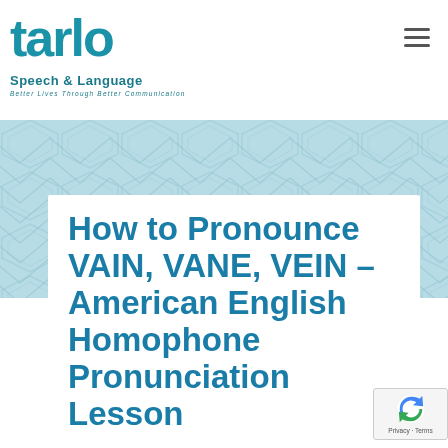tarlo Speech & Language — Better Lives Through Better Communication
[Figure (illustration): Geometric hexagonal/chevron tiled pattern background band in light teal/blue color]
How to Pronounce VAIN, VANE, VEIN – American English Homophone Pronunciation Lesson